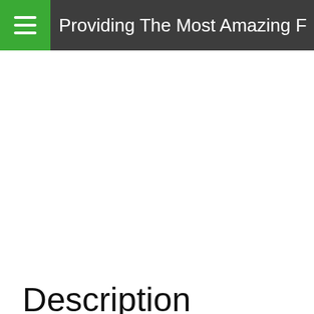Providing The Most Amazing F
[Figure (screenshot): Social share icons: Facebook, Twitter, Feed, Pinterest, More]
[Figure (screenshot): Media toolbar with video, audio, code, RSS, download, and external link icons]
Description